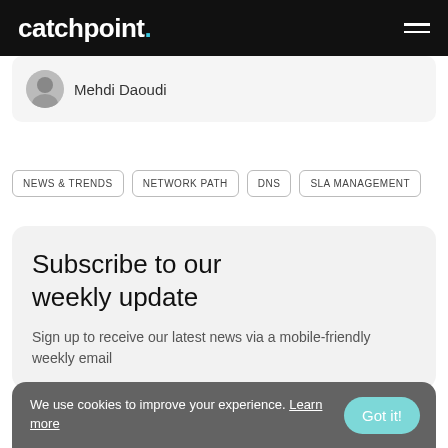catchpoint.
Mehdi Daoudi
NEWS & TRENDS
NETWORK PATH
DNS
SLA MANAGEMENT
Subscribe to our weekly update
Sign up to receive our latest news via a mobile-friendly weekly email
We use cookies to improve your experience. Learn more